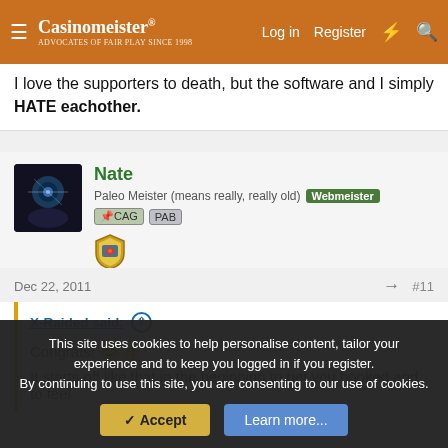Casinomeister | Log in | Register
I love the supporters to death, but the software and I simply HATE eachother.
Nate
Paleo Meister (means really, really old)
Dec 22, 2011  #11
X-Raided said:
Congrats!
It starts off like that in the beginning to get you hooked and to feel
This site uses cookies to help personalise content, tailor your experience and to keep you logged in if you register.
By continuing to use this site, you are consenting to our use of cookies.